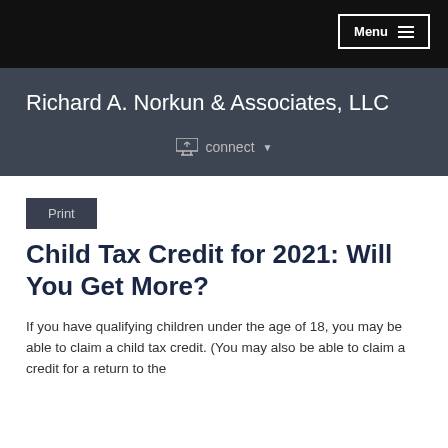Menu
Richard A. Norkun & Associates, LLC
connect
Print
Child Tax Credit for 2021: Will You Get More?
If you have qualifying children under the age of 18, you may be able to claim a child tax credit. (You may also be able to claim a credit for a return to the